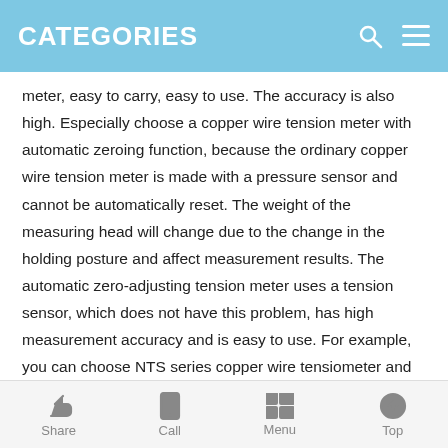CATEGORIES
meter, easy to carry, easy to use. The accuracy is also high. Especially choose a copper wire tension meter with automatic zeroing function, because the ordinary copper wire tension meter is made with a pressure sensor and cannot be automatically reset. The weight of the measuring head will change due to the change in the holding posture and affect measurement results. The automatic zero-adjusting tension meter uses a tension sensor, which does not have this problem, has high measurement accuracy and is easy to use. For example, you can choose NTS series copper wire tensiometer and copper wire tension meter with automatic zeroing function .
Share  Call  Menu  Top